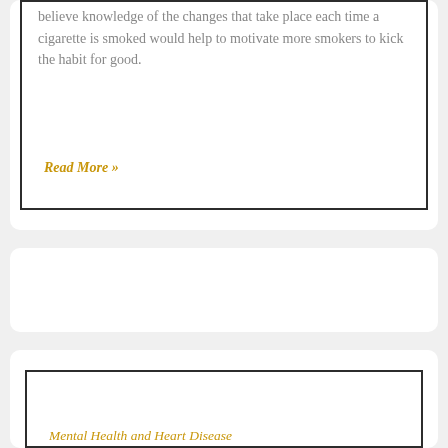believe knowledge of the changes that take place each time a cigarette is smoked would help to motivate more smokers to kick the habit for good.
Read More »
[Figure (other): Empty white rectangular advertisement or image placeholder box]
[Figure (other): Large empty white rectangular image placeholder box]
Mental Health and Heart Disease